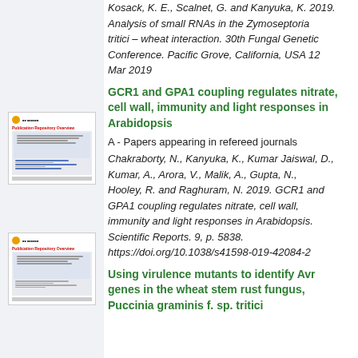Kosack, K. E., Scalnet, G. and Kanyuka, K. 2019. Analysis of small RNAs in the Zymoseptoria tritici – wheat interaction. 30th Fungal Genetics Conference. Pacific Grove, California, USA 12 Mar 2019
[Figure (screenshot): Thumbnail of a publication repository overview page]
GCR1 and GPA1 coupling regulates nitrate, cell wall, immunity and light responses in Arabidopsis
A - Papers appearing in refereed journals
Chakraborty, N., Kanyuka, K., Kumar Jaiswal, D., Kumar, A., Arora, V., Malik, A., Gupta, N., Hooley, R. and Raghuram, N. 2019. GCR1 and GPA1 coupling regulates nitrate, cell wall, immunity and light responses in Arabidopsis. Scientific Reports. 9, p. 5838. https://doi.org/10.1038/s41598-019-42084-2
[Figure (screenshot): Thumbnail of a publication repository overview page]
Using virulence mutants to identify Avr genes in the wheat stem rust fungus, Puccinia graminis f. sp. tritici